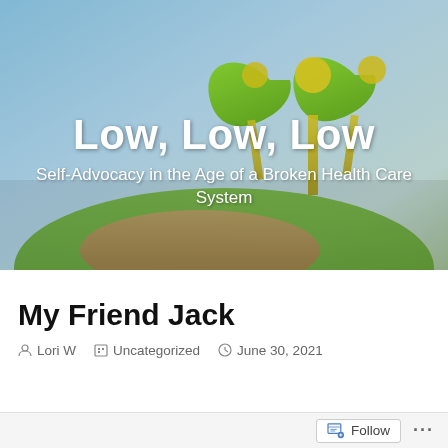[Figure (illustration): Blog header image showing a hand holding green kidney-shaped plant sculptures against a blue-sky background, with blog title 'Low, Low, Low' and subtitle 'Self-Advocacy in the Age of a Broken Health Care System' overlaid in white text]
My Friend Jack
Lori W   Uncategorized   June 30, 2021